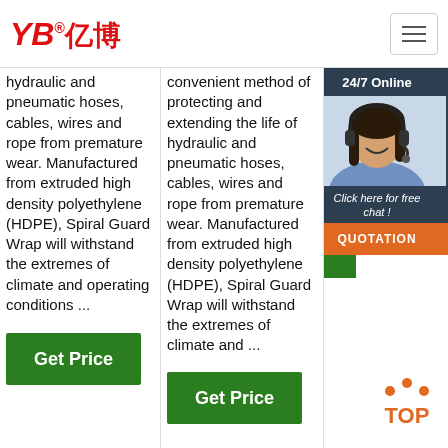YB亿博® [logo] | hamburger menu
hydraulic and pneumatic hoses, cables, wires and rope from premature wear. Manufactured from extruded high density polyethylene (HDPE), Spiral Guard Wrap will withstand the extremes of climate and operating conditions ...
convenient method of protecting and extending the life of hydraulic and pneumatic hoses, cables, wires and rope from premature wear. Manufactured from extruded high density polyethylene (HDPE), Spiral Guard Wrap will withstand the extremes of climate and ...
has been con... Eas... Yan... reta...
[Figure (photo): Customer service representative with headset, 24/7 Online chat widget overlay with dark blue background, 'Click here for free chat!' text, and orange QUOTATION button]
Get Price
Get Price